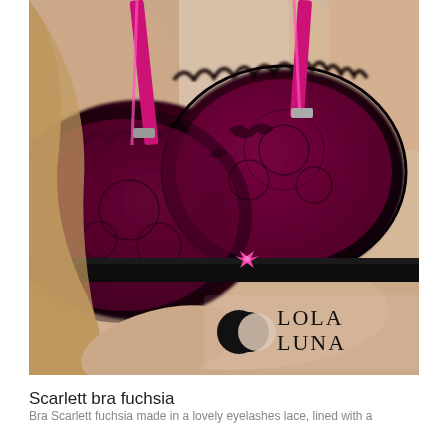[Figure (photo): Product photo of Lola Luna Scarlett bra in fuchsia/black lace. The image shows a woman wearing a push-up bra with black lace overlay on a vibrant fuchsia/magenta satin base, with black underwire band, pink straps, and a small pink bow at center front. The Lola Luna logo with crescent moon icon appears in the lower right of the image.]
Scarlett bra fuchsia
Bra Scarlett fuchsia made in a lovely eyelashes lace, lined with a...